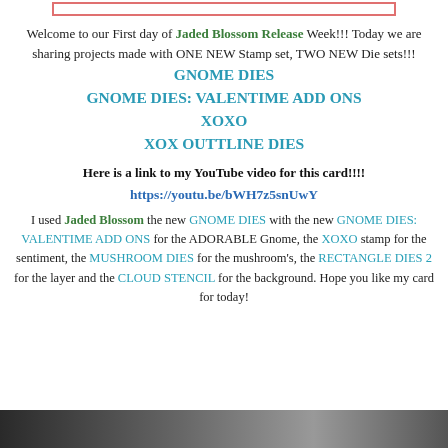[Figure (other): Decorative top bar with pink/red border rectangle]
Welcome to our First day of Jaded Blossom Release Week!!! Today we are sharing projects made with ONE NEW Stamp set, TWO NEW Die sets!!!
GNOME DIES
GNOME DIES: VALENTIME ADD ONS
XOXO
XOX OUTTLINE DIES
Here is a link to my YouTube video for this card!!!!
https://youtu.be/bWH7z5snUwY
I used Jaded Blossom the new GNOME DIES with the new GNOME DIES: VALENTIME ADD ONS for the ADORABLE Gnome, the XOXO stamp for the sentiment, the MUSHROOM DIES for the mushroom's, the RECTANGLE DIES 2 for the layer and the CLOUD STENCIL for the background. Hope you like my card for today!
[Figure (photo): Partial photo visible at bottom of page]